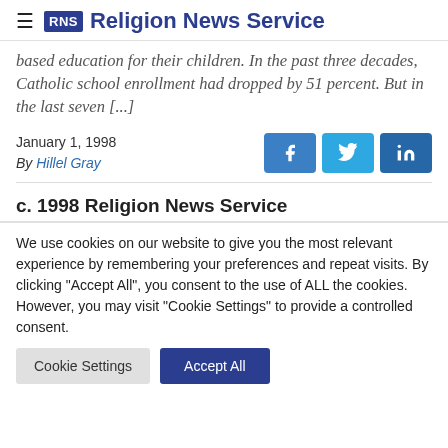RNS Religion News Service
based education for their children. In the past three decades, Catholic school enrollment had dropped by 51 percent. But in the last seven [...]
January 1, 1998
By Hillel Gray
c. 1998 Religion News Service
We use cookies on our website to give you the most relevant experience by remembering your preferences and repeat visits. By clicking "Accept All", you consent to the use of ALL the cookies. However, you may visit "Cookie Settings" to provide a controlled consent.